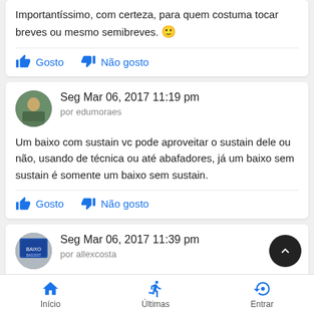Importantíssimo, com certeza, para quem costuma tocar breves ou mesmo semibreves. 🙂
Gosto   Não gosto
Seg Mar 06, 2017 11:19 pm
por edumoraes
Um baixo com sustain vc pode aproveitar o sustain dele ou não, usando de técnica ou até abafadores, já um baixo sem sustain é somente um baixo sem sustain.
Gosto   Não gosto
Seg Mar 06, 2017 11:39 pm
por allexcosta
Início   Últimas   Entrar